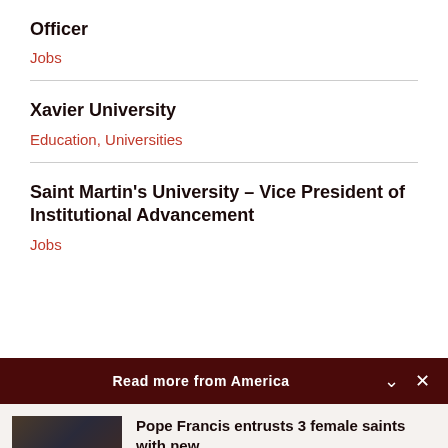Officer
Jobs
Xavier University
Education, Universities
Saint Martin's University – Vice President of Institutional Advancement
Jobs
Read more from America
[Figure (photo): Photo of Pope Francis meeting with a group of people in a room]
Pope Francis entrusts 3 female saints with new…
Cindy Wooden - Catholic News Service